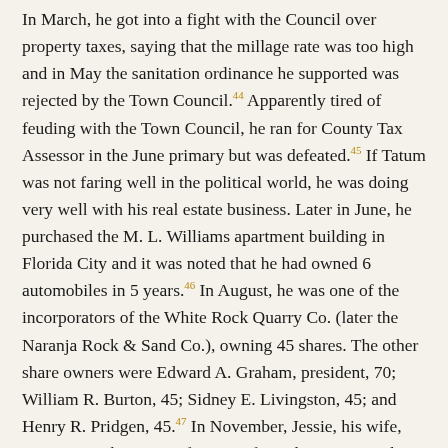In March, he got into a fight with the Council over property taxes, saying that the millage rate was too high and in May the sanitation ordinance he supported was rejected by the Town Council.44 Apparently tired of feuding with the Town Council, he ran for County Tax Assessor in the June primary but was defeated.45 If Tatum was not faring well in the political world, he was doing very well with his real estate business. Later in June, he purchased the M. L. Williams apartment building in Florida City and it was noted that he had owned 6 automobiles in 5 years.46 In August, he was one of the incorporators of the White Rock Quarry Co. (later the Naranja Rock & Sand Co.), owning 45 shares. The other share owners were Edward A. Graham, president, 70; William R. Burton, 45; Sidney E. Livingston, 45; and Henry R. Pridgen, 45.47 In November, Jessie, his wife, was among the group of women from the Homestead Women's Club who assisted at the dedication of the new Royal Palm State Park, now part of Everglades National Park.48
In early April of 1917, Tatum helped E. H. Ballard and E. H.